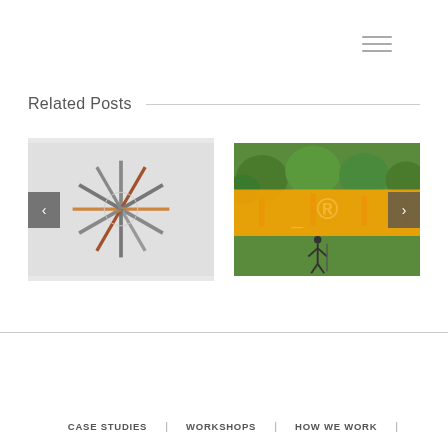[Figure (other): Hamburger menu icon (three horizontal lines) in the top right corner]
Related Posts
[Figure (photo): Top-down view of colored pencils arranged in a circular/spiral pattern on a light grey background]
[Figure (photo): Illustrated image of topiary trees in green with an orange banner overlay showing a registered trademark R symbol and a small figure with a pole]
CASE STUDIES | WORKSHOPS | HOW WE WORK |